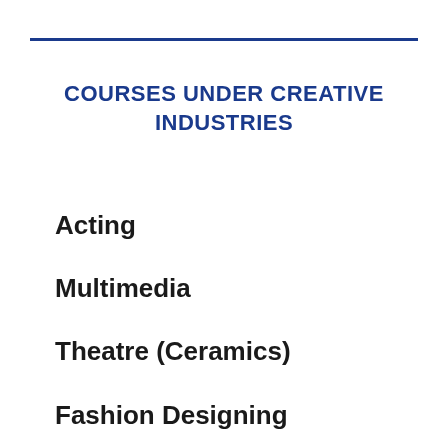COURSES UNDER CREATIVE INDUSTRIES
Acting
Multimedia
Theatre (Ceramics)
Fashion Designing